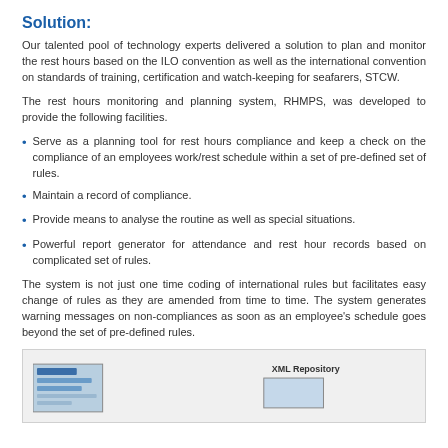Solution:
Our talented pool of technology experts delivered a solution to plan and monitor the rest hours based on the ILO convention as well as the international convention on standards of training, certification and watch-keeping for seafarers, STCW.
The rest hours monitoring and planning system, RHMPS, was developed to provide the following facilities.
Serve as a planning tool for rest hours compliance and keep a check on the compliance of an employees work/rest schedule within a set of pre-defined set of rules.
Maintain a record of compliance.
Provide means to analyse the routine as well as special situations.
Powerful report generator for attendance and rest hour records based on complicated set of rules.
The system is not just one time coding of international rules but facilitates easy change of rules as they are amended from time to time. The system generates warning messages on non-compliances as soon as an employee's schedule goes beyond the set of pre-defined rules.
[Figure (screenshot): Partial screenshot of the RHMPS system interface showing a screen widget on the left and an XML Repository label with a box on the right, on a light gray background.]